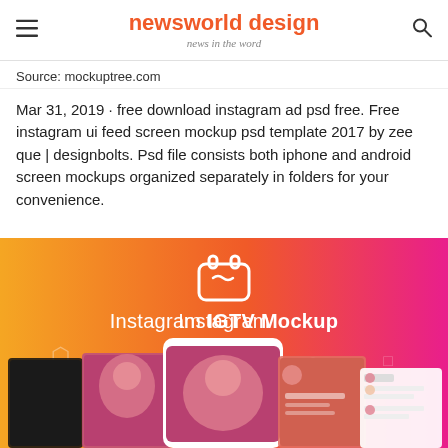newsworld design — news in the word
Source: mockuptree.com
Mar 31, 2019 · free download instagram ad psd free. Free instagram ui feed screen mockup psd template 2017 by zee que | designbolts. Psd file consists both iphone and android screen mockups organized separately in folders for your convenience.
[Figure (screenshot): Instagram IGTV Mockup promotional image with orange-to-pink gradient background, IGTV logo icon, title text 'Instagram IGTV Mockup', and multiple phone screen mockups showing Instagram IGTV UI]